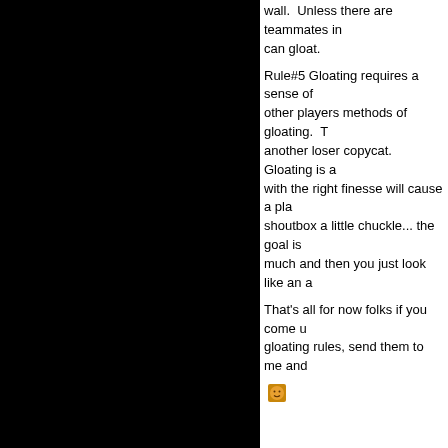[Figure (photo): Black rectangular panel on the left side of the page]
wall.  Unless there are teammates in  can gloat.
Rule#5 Gloating requires a sense of other players methods of gloating.  T another loser copycat.   Gloating is a with the right finesse will cause a pla shoutbox a little chuckle... the goal is much and then you just look like an a
That's all for now folks if you come u gloating rules, send them to me and
[smiley face emoji]
MAY 19, 2005 - 11:11 P
Title: Time for a break!
Well this will be the last you see of m (unless of course I happen to see an somewhere) I'm taking a long awaite 7 days so be nice to PJ while I am go an internet cafe I may send some pic
Tourney:  For those of you that think recruited an appropriate sub... wont